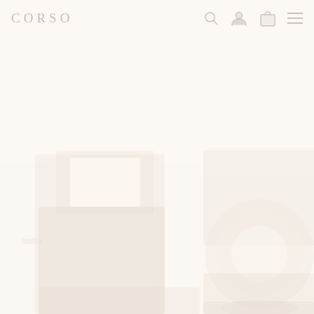[Figure (screenshot): Website header/navigation bar for 'CORSO' brand with logo on left and icons (search, user, bag, menu) on right, over a faded product photo background showing dark-colored candle jars/containers with white labels, very washed out/high key exposure]
CORSO